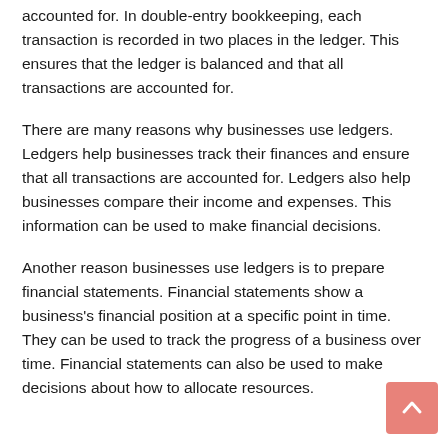accounted for. In double-entry bookkeeping, each transaction is recorded in two places in the ledger. This ensures that the ledger is balanced and that all transactions are accounted for.
There are many reasons why businesses use ledgers. Ledgers help businesses track their finances and ensure that all transactions are accounted for. Ledgers also help businesses compare their income and expenses. This information can be used to make financial decisions.
Another reason businesses use ledgers is to prepare financial statements. Financial statements show a business's financial position at a specific point in time. They can be used to track the progress of a business over time. Financial statements can also be used to make decisions about how to allocate resources.